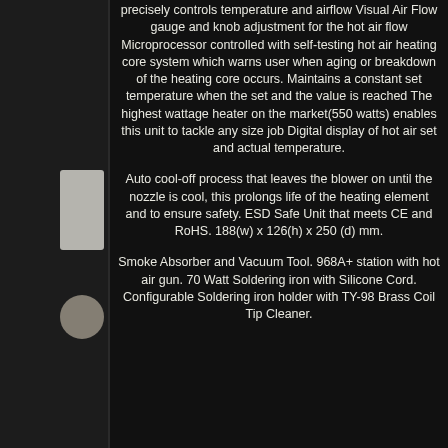precisely controls temperature and airflow Visual Air Flow gauge and knob adjustment for the hot air flow Microprocessor controlled with self-testing hot air heating core system which warns user when aging or breakdown of the heating core occurs. Maintains a constant set temperature when the set and the value is reached The highest wattage heater on the market(550 watts) enables this unit to tackle any size job Digital display of hot air set and actual temperature.
Auto cool-off process that leaves the blower on until the nozzle is cool, this prolongs life of the heating element and to ensure safety. ESD Safe Unit that meets CE and RoHS. 188(w) x 126(h) x 250 (d) mm.
Smoke Absorber and Vacuum Tool. 968A+ station with hot air gun. 70 Watt Soldering iron with Silicone Cord. Configurable Soldering iron holder with TY-98 Brass Coil Tip Cleaner.